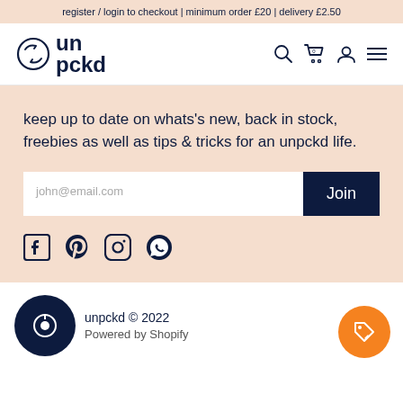register / login to checkout | minimum order £20 | delivery £2.50
[Figure (logo): unpckd logo with circular arrow icon and nav icons (search, cart, user, menu)]
keep up to date on whats's new, back in stock, freebies as well as tips & tricks for an unpckd life.
[Figure (other): Email signup form with placeholder 'john@email.com' and a dark blue 'Join' button]
[Figure (other): Social media icons: Facebook, Pinterest, Instagram, WhatsApp]
unpckd © 2022 Powered by Shopify